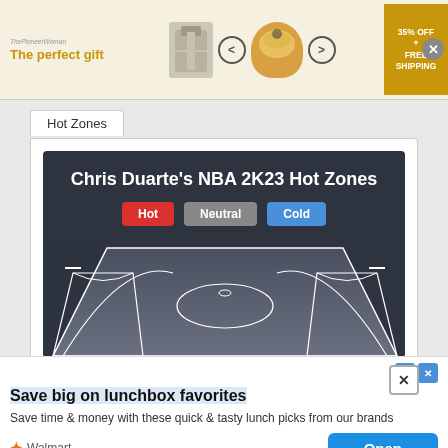[Figure (screenshot): Top advertisement banner: 'The perfect gift' with product images, navigation arrows, food bowl image, and '35% OFF + FREE SHIPPING' gold button. Close X button top right.]
Hot Zones
[Figure (screenshot): Chris Duarte's NBA 2K23 Hot Zones dark panel showing title text, Hot/Neutral/Cold legend buttons, and a perspective basketball court diagram in gray/white on dark background.]
[Figure (screenshot): Bottom advertisement: 'Save big on lunchbox favorites' headline, body text 'Save time & money with these quick & tasty lunch picks from our brands', Walmart logo and Open button.]